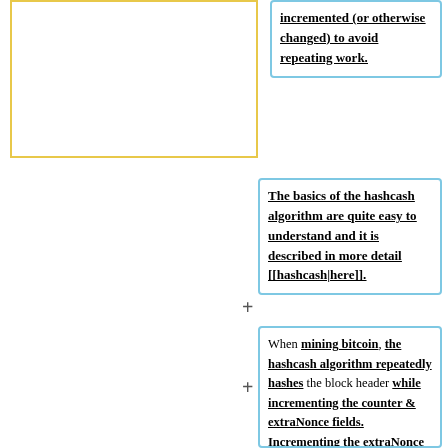[Figure (other): Empty yellow-bordered rectangle on the left]
incremented (or otherwise changed) to avoid repeating work.
The basics of the hashcash algorithm are quite easy to understand and it is described in more detail [[hashcash|here]].
When mining bitcoin, the hashcash algorithm repeatedly hashes the block header while incrementing the counter & extraNonce fields. Incrementing the extraNonce field entails recomputing the merkle tree, as the coinbase transaction is the left most leaf node. The block is also occasionally updated as you are